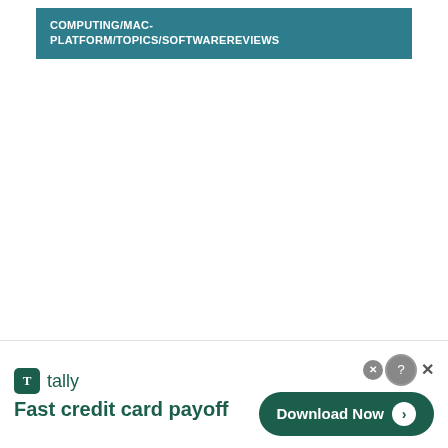COMPUTING/MAC-PLATFORM/TOPICS/SOFTWAREREVIEWS
[Figure (screenshot): Advertisement banner for Tally app showing 'Fast credit card payoff' with a Download Now button and close/question icons]